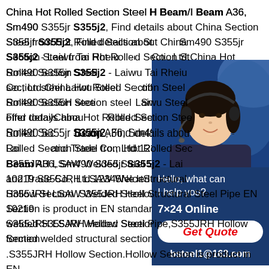China Hot Rolled Section Steel H Beam/I Beam A36, Sm490 S355jr S355j2, Find details about China Section Steel from Hot Rolled Section Steel H Beam/I Beam A36, Sm490 S355jr S355j2 - Laiwu Tai Rhenium Iron and Steel Co., Ltd.China Hot Rolled Section Steel H Beam/I Beam A36, Sm490 S355H section steel Laiwu Steel offer todayChina Hot Rolled Section Steel H Beam/I Beam A36, Sm490 S355jr S355j2, Find details about Hot Rolled Section Steel from Hot Rolled Section Steel H Beam A36, Sm490 S355jr S355j2 - Laiwu Tai Rhenium Iron and Trade Co., Ltd.12345NextStructural S355JRH LSAW Welded Steel Structural Steel Pipe EN 10219 S355JRH LSAW Welded Steel Pipe,S355JRH Hollow Section .S355JRH Hollow Section.Hollow Section is product in EN standard.Its for Cold formed welded S355JRH Hollow Section.EN 10219 Cold formed welded structural sections of
[Figure (other): Customer service chat widget with a photo of a woman wearing a headset, dark blue background, text 'Hello, what can I help you?', '7x24 Online', a 'Get Quote' button, and email 'bsteel1@163.com']